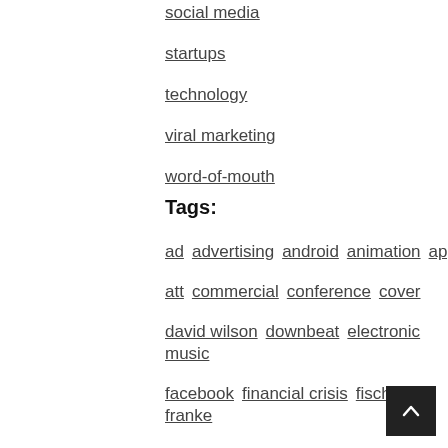social media
startups
technology
viral marketing
word-of-mouth
Tags:
ad advertising android animation apple
att commercial conference cover
david wilson downbeat electronic music
facebook financial crisis fisch franke
future of privacy forum g1 google
infographic iphone iphone 4 keynote